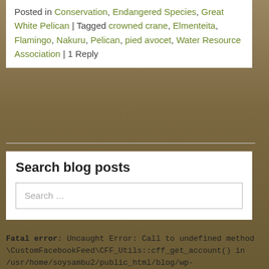Posted in Conservation, Endangered Species, Great White Pelican | Tagged crowned crane, Elmenteita, Flamingo, Nakuru, Pelican, pied avocet, Water Resource Association | 1 Reply
Search blog posts
Search ...
Fatal error: Uncaught Error: Call to undefined method \CustomFacebookFeed\CFF_Utils::cff_get_account() in /usr/home/soysambu2/public_html/blog/wp-content/plugins/custom-facebook-feed/inc/CFF_Error_Reporter.php:90 Stack trace: #0 /usr/home/soysambu2/public_html/blog/wp-content/plugins/custom-facebook-feed/inc/CFF_Utils.php(213): CustomFacebookFeed\CFF_Error_Reporter-